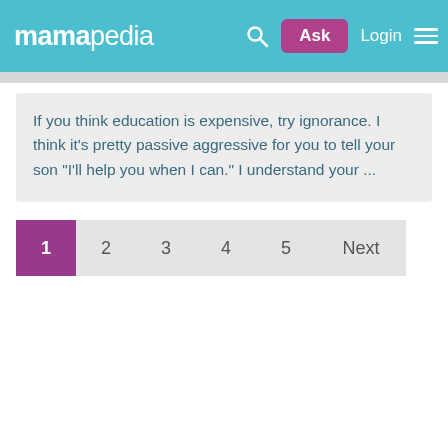mamapedia — Ask | Login
If you think education is expensive, try ignorance. I think it's pretty passive aggressive for you to tell your son "I'll help you when I can." I understand your ...
Pagination: 1 2 3 4 5 Next